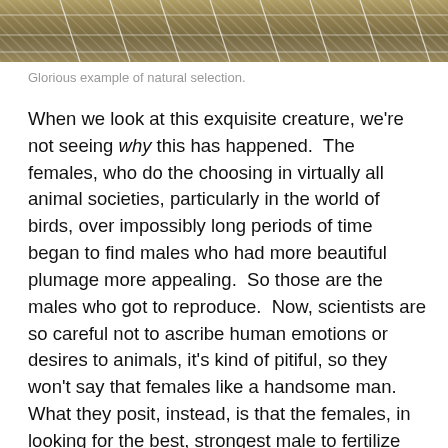[Figure (photo): Photograph of a bird with elaborate plumage against a natural background of dry grass and netting, showing natural selection in action.]
Glorious example of natural selection.
When we look at this exquisite creature, we're not seeing why this has happened.  The females, who do the choosing in virtually all animal societies, particularly in the world of birds, over impossibly long periods of time began to find males who had more beautiful plumage more appealing.  So those are the males who got to reproduce.  Now, scientists are so careful not to ascribe human emotions or desires to animals, it's kind of pitiful, so they won't say that females like a handsome man.  What they posit, instead, is that the females, in looking for the best, strongest male to fertilize their eggs, take the sheer effort, the physical cost, of maintaining the plumage, as a sign that this is the strongest, best male possible.